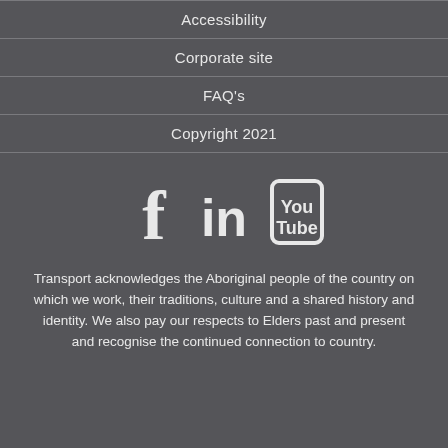Accessibility
Corporate site
FAQ's
Copyright 2021
[Figure (infographic): Social media icons: Facebook (f), LinkedIn (in), YouTube (YouTube logo with box)]
Transport acknowledges the Aboriginal people of the country on which we work, their traditions, culture and a shared history and identity. We also pay our respects to Elders past and present and recognise the continued connection to country.